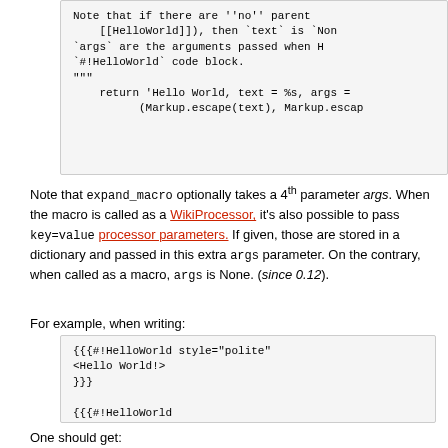[Figure (screenshot): Code block showing top portion of Python macro code with Note docstring, return statement with Markup.escape calls]
Note that expand_macro optionally takes a 4th parameter args. When the macro is called as a WikiProcessor, it's also possible to pass key=value processor parameters. If given, those are stored in a dictionary and passed in this extra args parameter. On the contrary, when called as a macro, args is None. (since 0.12).
For example, when writing:
[Figure (screenshot): Code block showing three HelloWorld macro invocations: {{{#!HelloWorld style="polite" <Hello World!> }}}, {{{#!HelloWorld <Hello World!> }}}, and [[HelloWorld(<Hello World!>)]]]
One should get: